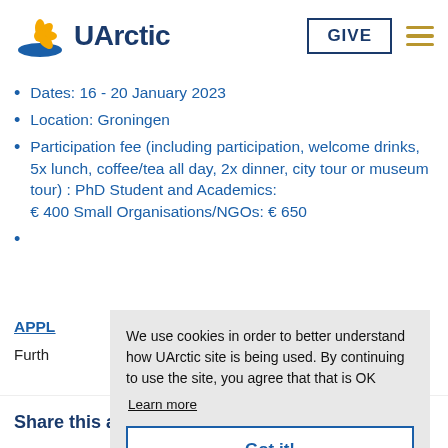[Figure (logo): UArctic logo with flower/snowflake in yellow and blue, text 'UArctic' in dark blue, GIVE button and hamburger menu on right]
Dates: 16 - 20 January 2023
Location: Groningen
Participation fee (including participation, welcome drinks, 5x lunch, coffee/tea all day, 2x dinner, city tour or museum tour) : PhD Student and Academics: € 400 Small Organisations/NGOs: € 650
(partially visible)
APPL... (Apply link partially visible)
Furth... (Further text partially visible)
We use cookies in order to better understand how UArctic site is being used. By continuing to use the site, you agree that that is OK
Learn more
Got it!
Share this article